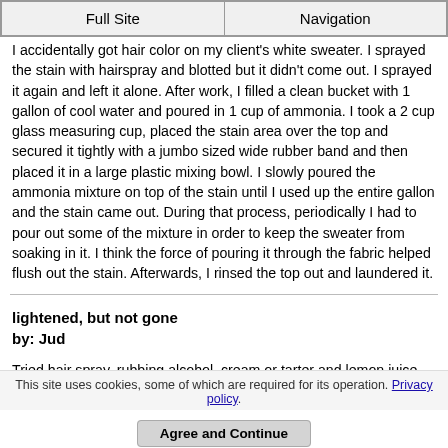Full Site | Navigation
I accidentally got hair color on my client's white sweater. I sprayed the stain with hairspray and blotted but it didn't come out. I sprayed it again and left it alone. After work, I filled a clean bucket with 1 gallon of cool water and poured in 1 cup of ammonia. I took a 2 cup glass measuring cup, placed the stain area over the top and secured it tightly with a jumbo sized wide rubber band and then placed it in a large plastic mixing bowl. I slowly poured the ammonia mixture on top of the stain until I used up the entire gallon and the stain came out. During that process, periodically I had to pour out some of the mixture in order to keep the sweater from soaking in it. I think the force of pouring it through the fabric helped flush out the stain. Afterwards, I rinsed the top out and laundered it.
lightened, but not gone
by: Jud
Tried hair spray, rubbing alcohol, cream or tarter and lemon juice. Lighten up but not gone.
This site uses cookies, some of which are required for its operation. Privacy policy.
Agree and Continue